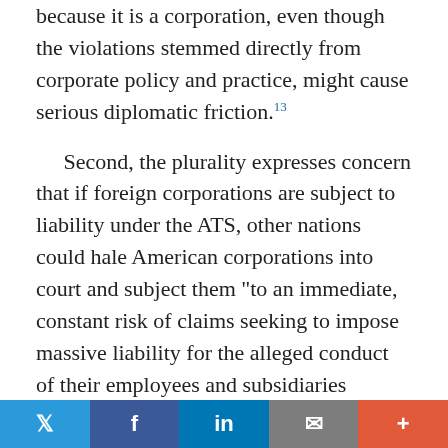because it is a corporation, even though the violations stemmed directly from corporate policy and practice, might cause serious diplomatic friction.¹³
Second, the plurality expresses concern that if foreign corporations are subject to liability under the ATS, other nations could hale American corporations into court and subject them "to an immediate, constant risk of claims seeking to impose massive liability for the alleged conduct of their employees and subsidiaries around the world," a prospect that will deter American corporations from investing in developing economies. Ante, at 24. The plurality offers no empirical evidence to support these alarmist conjectures, which is especially telling given that plaintiffs have been filing ATS suits against foreign corporations in United States courts for years. It does cite to an amicus brief for the United States, in that...
Twitter | Facebook | LinkedIn | Mail | +